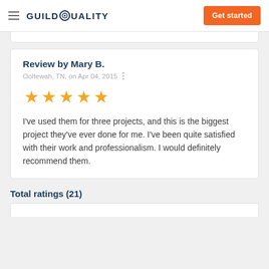GuildQuality — Get started
Review by Mary B.
Ooltewah, TN, on Apr 04, 2015
[Figure (other): Five gold stars rating]
I've used them for three projects, and this is the biggest project they've ever done for me. I've been quite satisfied with their work and professionalism. I would definitely recommend them.
Total ratings (21)